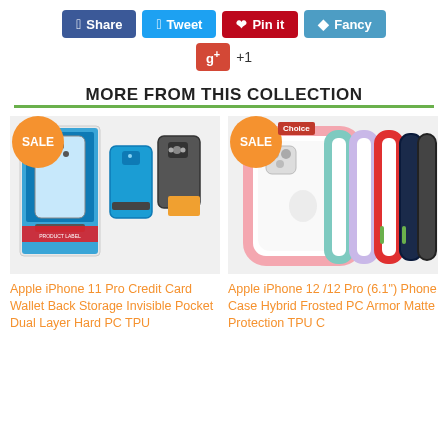[Figure (screenshot): Social sharing buttons: Share (Facebook), Tweet (Twitter), Pin it (Pinterest), Fancy, and Google+ +1]
MORE FROM THIS COLLECTION
[Figure (photo): Product photo: Apple iPhone 11 Pro Credit Card Wallet Back Storage Invisible Pocket case in blue, with SALE badge]
[Figure (photo): Product photo: Apple iPhone 12 /12 Pro (6.1") Phone Case Hybrid Frosted PC Armor Matte Protection cases in multiple colors, with SALE badge]
Apple iPhone 11 Pro Credit Card Wallet Back Storage Invisible Pocket Dual Layer Hard PC TPU
Apple iPhone 12 /12 Pro (6.1") Phone Case Hybrid Frosted PC Armor Matte Protection TPU C